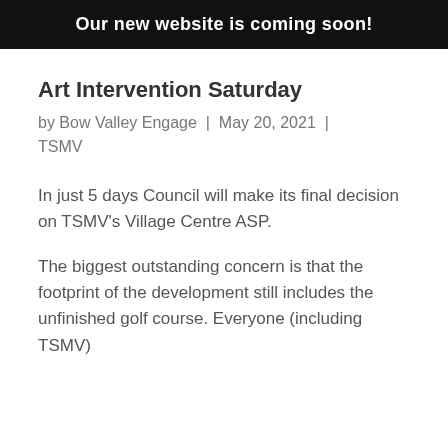Our new website is coming soon!
Art Intervention Saturday
by Bow Valley Engage  |  May 20, 2021  |  TSMV
In just 5 days Council will make its final decision on TSMV's Village Centre ASP.
The biggest outstanding concern is that the footprint of the development still includes the unfinished golf course. Everyone (including TSMV)